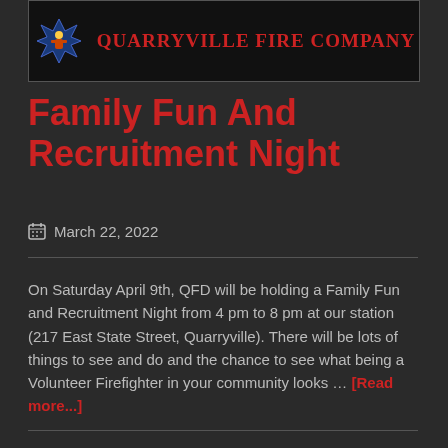[Figure (logo): Quarryville Fire Company logo on black background with firefighter emblem and red text reading QUARRYVILLE FIRE COMPANY]
Family Fun And Recruitment Night
March 22, 2022
On Saturday April 9th, QFD will be holding a Family Fun and Recruitment Night from 4 pm to 8 pm at our station (217 East State Street, Quarryville).  There will be lots of things to see and do and the chance to see what being a Volunteer Firefighter in your community looks … [Read more...]